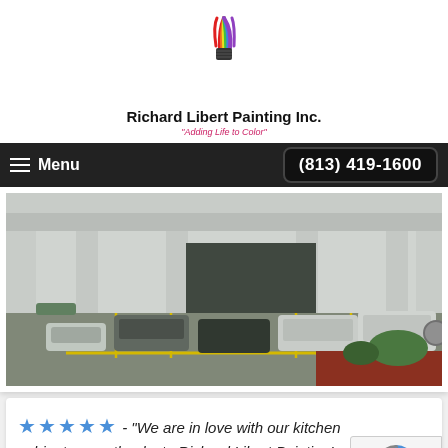[Figure (logo): Richard Libert Painting Inc. logo with colorful hot air balloon / shuttlecock shape in rainbow colors]
Richard Libert Painting Inc.
"Adding Life to Color"
Menu   (813) 419-1600
[Figure (photo): Commercial building exterior with parking lot, cars parked in spaces with yellow curb markings, red mulch landscaping in foreground]
★★★★★ - "We are in love with our kitchen cabinets now, thanks to Richard Libert Painting! Ca...